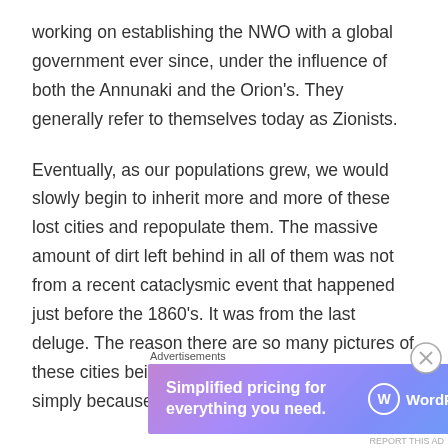working on establishing the NWO with a global government ever since, under the influence of both the Annunaki and the Orion's. They generally refer to themselves today as Zionists.
Eventually, as our populations grew, we would slowly begin to inherit more and more of these lost cities and repopulate them. The massive amount of dirt left behind in all of them was not from a recent cataclysmic event that happened just before the 1860's. It was from the last deluge. The reason there are so many pictures of these cities being empty around the 1860's is simply because they had not yet
Advertisements
[Figure (other): WordPress.com advertisement banner: 'Simplified pricing for everything you need.' with WordPress.com logo on blue-purple gradient background.]